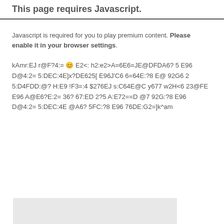This page requires Javascript.
Javascript is required for you to play premium content. Please enable it in your browser settings.
kAmr:EJ r@F?4:= 😊 E2<: h2:e2>A=6E6=JE@DFDA6? 5 E96 D@4:2= 5:DEC:4E]x?DE625[ E96J'C6 6=64E:?8 E@ 92G6 2 5:D4FDD:@? H:E9 !F3=:4 $276EJ s:C64E@C y677 w2H<6 23@FE E96 A@E6?E:2= 36? 67:ED 2?5 A:E72==D @7 92G:?8 E96 D@4:2= 5:DEC:4E @A6? 5FC:?8 E96 76DE:G2=]k^am